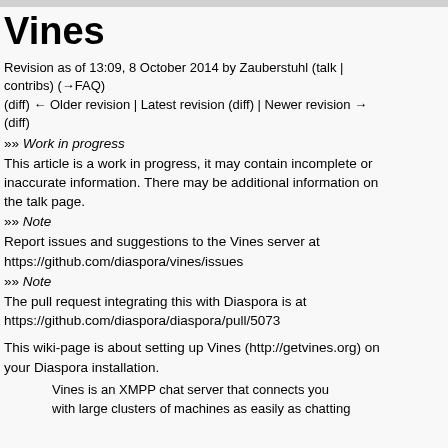Vines
Revision as of 13:09, 8 October 2014 by Zauberstuhl (talk | contribs) (→FAQ)
(diff) ← Older revision | Latest revision (diff) | Newer revision → (diff)
»» Work in progress
This article is a work in progress, it may contain incomplete or inaccurate information. There may be additional information on the talk page.
»» Note
Report issues and suggestions to the Vines server at https://github.com/diaspora/vines/issues
»» Note
The pull request integrating this with Diaspora is at https://github.com/diaspora/diaspora/pull/5073
This wiki-page is about setting up Vines (http://getvines.org) on your Diaspora installation.
Vines is an XMPP chat server that connects you with large clusters of machines as easily as chatting